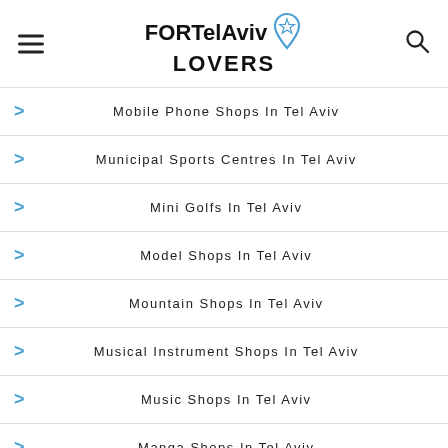FOR Tel Aviv LOVERS
Mobile Phone Shops In Tel Aviv
Municipal Sports Centres In Tel Aviv
Mini Golfs In Tel Aviv
Model Shops In Tel Aviv
Mountain Shops In Tel Aviv
Musical Instrument Shops In Tel Aviv
Music Shops In Tel Aviv
Manga Shops In Tel Aviv
Music Bookstores In Tel Aviv